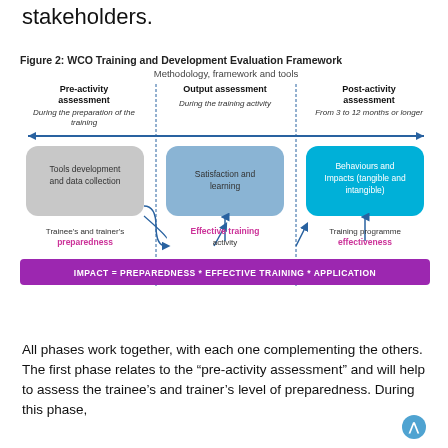stakeholders.
Figure 2: WCO Training and Development Evaluation Framework
Methodology, framework and tools
[Figure (infographic): WCO Training and Development Evaluation Framework diagram showing three phases: Pre-activity assessment (During the preparation of the training) with 'Tools development and data collection' box, Output assessment (During the training activity) with 'Satisfaction and learning' box, and Post-activity assessment (From 3 to 12 months or longer) with 'Behaviours and Impacts (tangible and intangible)' box. A double-headed blue arrow spans all three phases. Below each column: 'Trainee's and trainer's preparedness', 'Effective training activity', 'Training programme effectiveness'. A purple banner reads: IMPACT = PREPAREDNESS * EFFECTIVE TRAINING * APPLICATION]
All phases work together, with each one complementing the others. The first phase relates to the “pre-activity assessment” and will help to assess the trainee’s and trainer’s level of preparedness. During this phase,